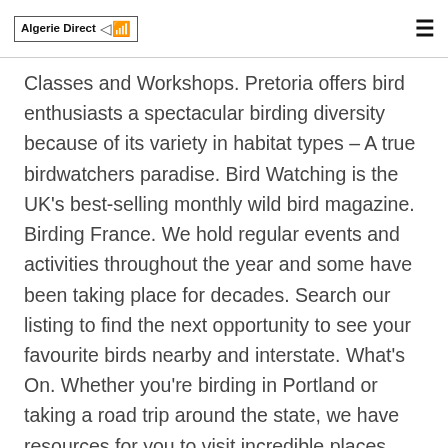Algerie Direct
Classes and Workshops. Pretoria offers bird enthusiasts a spectacular birding diversity because of its variety in habitat types – A true birdwatchers paradise. Bird Watching is the UK's best-selling monthly wild bird magazine. Birding France. We hold regular events and activities throughout the year and some have been taking place for decades. Search our listing to find the next opportunity to see your favourite birds nearby and interstate. What's On. Whether you're birding in Portland or taking a road trip around the state, we have resources for you to visit incredible places within Oregon's forest, desert, mountain, grassland, coastal, and urban habitat. Monthly meetings with guest speakers, Outings, Pelagic trips, Photo Competition and Camp-outs are part of the yearly program, as well as interstate and